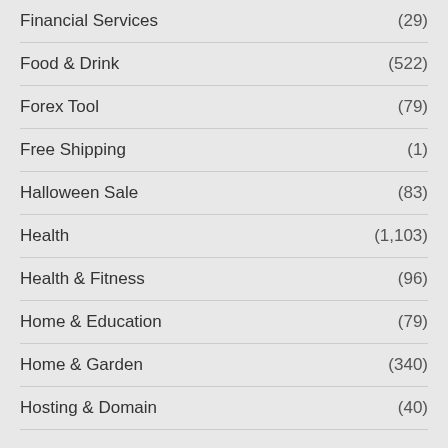Financial Services (29)
Food & Drink (522)
Forex Tool (79)
Free Shipping (1)
Halloween Sale (83)
Health (1,103)
Health & Fitness (96)
Home & Education (79)
Home & Garden (340)
Hosting & Domain (40)